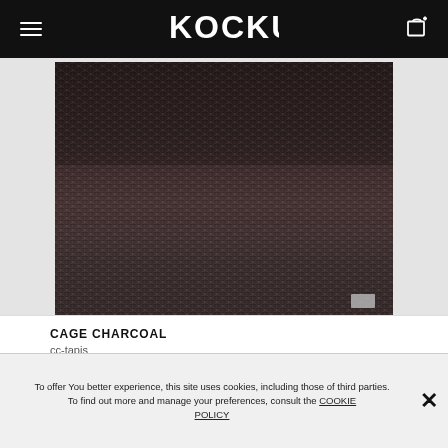KOCKU — navigation header with menu icon, logo, and cart icon
[Figure (photo): Close-up photograph of a dark charcoal/brown textured rug with a diamond/honeycomb weave pattern, showing subtle tonal variation from darker top to lighter bottom. A small brand label tag is visible at the bottom right corner.]
CAGE CHARCOAL
cc-tapis
To offer You better experience, this site uses cookies, including those of third parties. To find out more and manage your preferences, consult the COOKIE POLICY